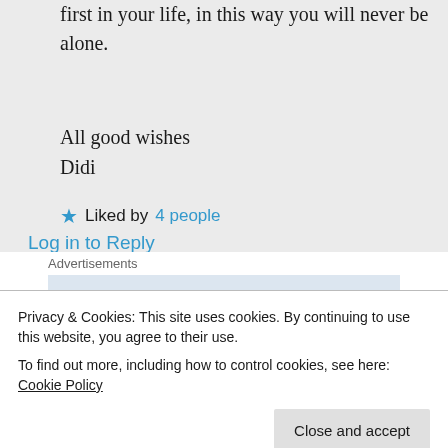first in your life, in this way you will never be alone.
All good wishes
Didi
Liked by 4 people
Log in to Reply
Advertisements
[Figure (screenshot): Advertisement banner showing 'Build a writing' text]
Privacy & Cookies: This site uses cookies. By continuing to use this website, you agree to their use.
To find out more, including how to control cookies, see here: Cookie Policy
Close and accept
GET THE APP